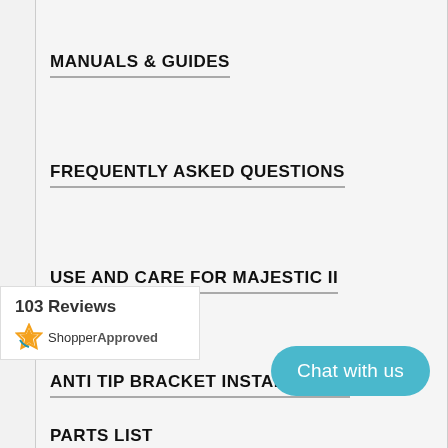MANUALS & GUIDES
FREQUENTLY ASKED QUESTIONS
USE AND CARE FOR MAJESTIC II
ANTI TIP BRACKET INSTALLATION
LEG INSTALLATION INSTRUCTIONS
103 Reviews
[Figure (logo): ShopperApproved logo with star icon]
Chat with us
PARTS LIST